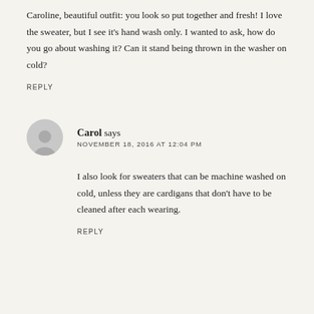Caroline, beautiful outfit: you look so put together and fresh! I love the sweater, but I see it's hand wash only. I wanted to ask, how do you go about washing it? Can it stand being thrown in the washer on cold?
REPLY
Carol says
NOVEMBER 18, 2016 AT 12:04 PM
I also look for sweaters that can be machine washed on cold, unless they are cardigans that don't have to be cleaned after each wearing.
REPLY